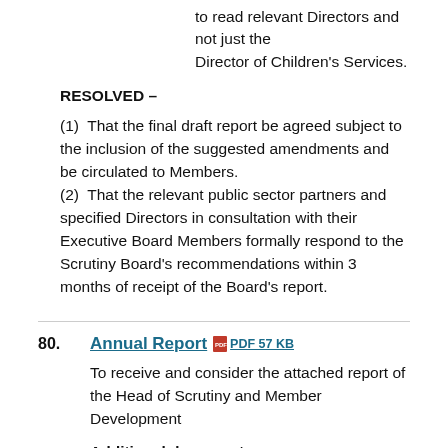to read relevant Directors and not just the Director of Children's Services.
RESOLVED –
(1)  That the final draft report be agreed subject to the inclusion of the suggested amendments and be circulated to Members.
(2)  That the relevant public sector partners and specified Directors in consultation with their Executive Board Members formally respond to the Scrutiny Board's recommendations within 3 months of receipt of the Board's report.
80.  Annual Report   PDF 57 KB
To receive and consider the attached report of the Head of Scrutiny and Member Development
Additional documents:
Draft 20.8.0409Annual Report City & Regional